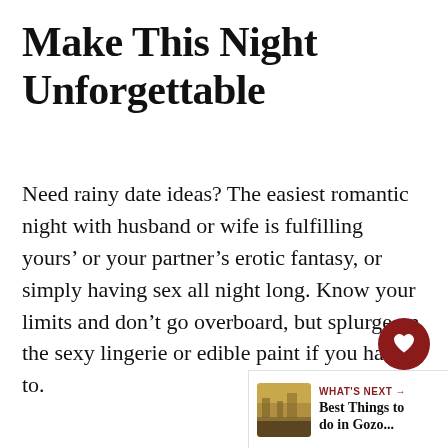Make This Night Unforgettable
Need rainy date ideas? The easiest romantic night with husband or wife is fulfilling yours’ or your partner’s erotic fantasy, or simply having sex all night long. Know your limits and don’t go overboard, but splurge on the sexy lingerie or edible paint if you have to.
[Figure (other): Heart (favorite) button — dark red circle with white heart icon]
[Figure (other): Share button — light gray circle with share/network icon]
[Figure (other): What’s Next navigation card showing a photo thumbnail and text: WHAT’S NEXT → Best Things to do in Gozo...]